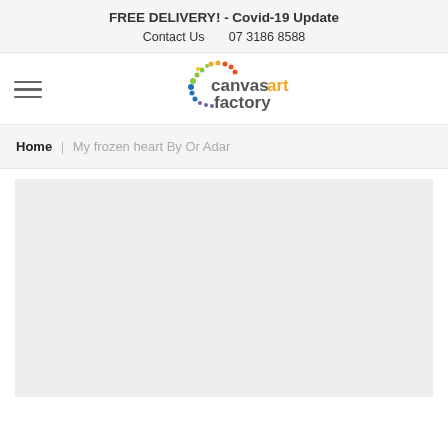FREE DELIVERY! - Covid-19 Update
Contact Us   07 3186 8588
[Figure (logo): Canvas Art Factory logo with colorful dots forming a spiral and text 'canvasart factory']
Home > My frozen heart By Or Adar
[Figure (photo): Light grey placeholder content area]